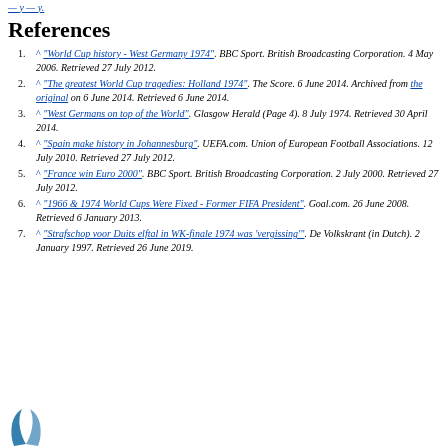— y — y.
References
^ "World Cup history - West Germany 1974". BBC Sport. British Broadcasting Corporation. 4 May 2006. Retrieved 27 July 2012.
^ "The greatest World Cup tragedies: Holland 1974". The Score. 6 June 2014. Archived from the original on 6 June 2014. Retrieved 6 June 2014.
^ "West Germans on top of the World". Glasgow Herald (Page 4). 8 July 1974. Retrieved 30 April 2014.
^ "Spain make history in Johannesburg". UEFA.com. Union of European Football Associations. 12 July 2010. Retrieved 27 July 2012.
^ "France win Euro 2000". BBC Sport. British Broadcasting Corporation. 2 July 2000. Retrieved 27 July 2012.
^ "1966 & 1974 World Cups Were Fixed - Former FIFA President". Goal.com. 26 June 2008. Retrieved 6 January 2013.
^ "Strafschop voor Duits elftal in WK-finale 1974 was 'vergissing'". De Volkskrant (in Dutch). 2 January 1997. Retrieved 26 June 2019.
[Figure (logo): Wikipedia logo partial, blue swoosh]